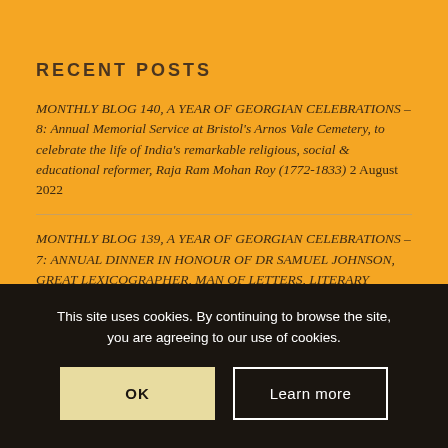RECENT POSTS
MONTHLY BLOG 140, A YEAR OF GEORGIAN CELEBRATIONS – 8: Annual Memorial Service at Bristol's Arnos Vale Cemetery, to celebrate the life of India's remarkable religious, social & educational reformer, Raja Ram Mohan Roy (1772-1833) 2 August 2022
MONTHLY BLOG 139, A YEAR OF GEORGIAN CELEBRATIONS – 7: ANNUAL DINNER IN HONOUR OF DR SAMUEL JOHNSON, GREAT LEXICOGRAPHER, MAN OF LETTERS, LITERARY CRITIC AND INIMITABLE CONVERSATIONALIST HERE 16 July 2022
This site uses cookies. By continuing to browse the site, you are agreeing to our use of cookies.